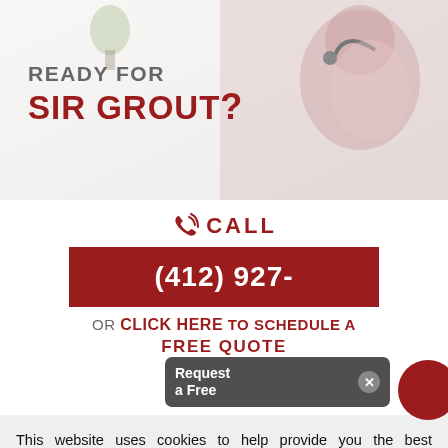[Figure (photo): Promotional banner image showing a smiling woman with a headset and background kitchen scene]
READY FOR SIR GROUT?
CALL
(412) 927-
OR CLICK HERE TO SCHEDULE A FREE QUOTE
[Figure (screenshot): Popup overlay showing Request a Free quote dialog with close button]
This website uses cookies to help provide you the best experience possible. See our Privacy Policy for more information. By continuing without changing your cookie settings within your browser, you are agreeing to our use of cookies.
ACCEPT